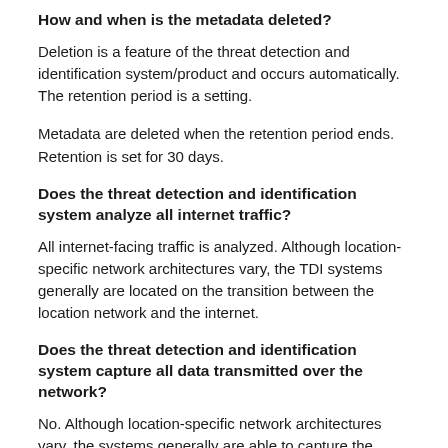How and when is the metadata deleted?
Deletion is a feature of the threat detection and identification system/product and occurs automatically. The retention period is a setting.
Metadata are deleted when the retention period ends. Retention is set for 30 days.
Does the threat detection and identification system analyze all internet traffic?
All internet-facing traffic is analyzed. Although location-specific network architectures vary, the TDI systems generally are located on the transition between the location network and the internet.
Does the threat detection and identification system capture all data transmitted over the network?
No. Although location-specific network architectures vary, the systems generally are able to capture the information detected t…